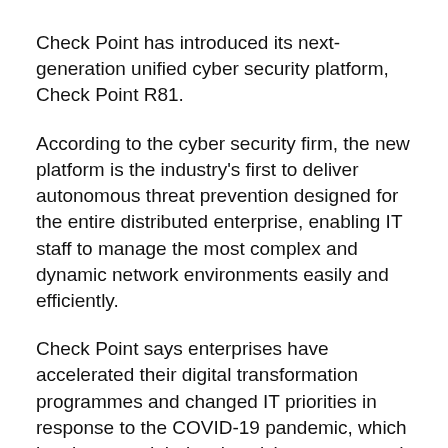Check Point has introduced its next-generation unified cyber security platform, Check Point R81.
According to the cyber security firm, the new platform is the industry's first to deliver autonomous threat prevention designed for the entire distributed enterprise, enabling IT staff to manage the most complex and dynamic network environments easily and efficiently.
Check Point says enterprises have accelerated their digital transformation programmes and changed IT priorities in response to the COVID-19 pandemic, which has increased their cyber risk exposure and risen the complexity of managing employees remotely. 71% of security professionals reported an increase in cyber threats since the beginning of the pandemic.
Addressing the need for better security and less